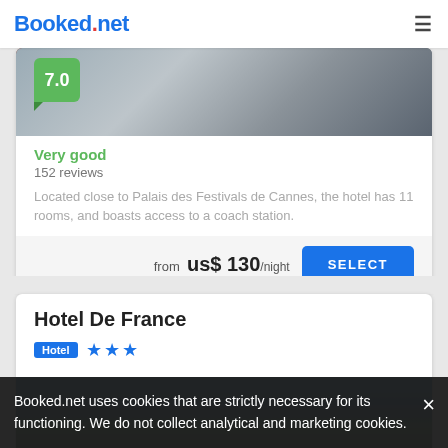Booked.net
[Figure (photo): Hotel room interior photo, partial view, dark tones]
Very good
152 reviews
Located close to Palais des Festivals de Cannes, the hotel has 11 rooms, and boasts access to a coach station.
from us$ 130/night
Hotel De France
Hotel ★★★
[Figure (photo): Hotel De France exterior photo, blue sky background, city view]
Booked.net uses cookies that are strictly necessary for its functioning. We do not collect analytical and marketing cookies.